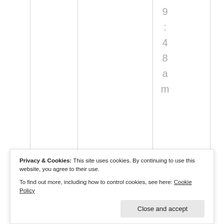9:48am
I would NOT take excdedrin manrgiae because it wears
Privacy & Cookies: This site uses cookies. By continuing to use this website, you agree to their use.
To find out more, including how to control cookies, see here: Cookie Policy
Close and accept